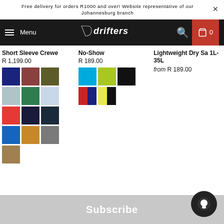Free delivery for orders R1000 and over! Website representative of our Johannesburg branch
[Figure (screenshot): Navigation bar with hamburger menu, Menu text, Drifters logo, search icon, and cart button showing 0 items]
Short Sleeve Crewe
R 1,199.00
No-Show
R 189.00
Lightweight Dry Sa 1L-35L
from R 189.00
[Figure (other): Color swatches for Short Sleeve Crewe: navy, brown/rust, olive, light blue, green, light blue, red/orange, dark navy, dark navy, blue, tan/orange, grey, tan/khaki]
[Figure (other): Color swatches for No-Show: cyan/blue, lime green, black, red+navy multi, yellow+black multi]
Subscribe
[Figure (other): Chat bubble icon in bottom right corner]